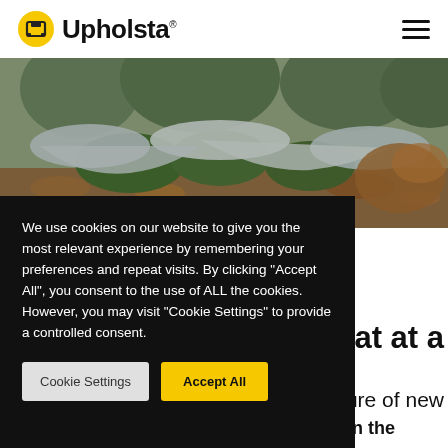Upholsta
[Figure (photo): Outdoor scene showing upholstered furniture covered with grey fabric placed among moss-covered rocks and fallen autumn leaves in a forest setting]
We use cookies on our website to give you the most relevant experience by remembering your preferences and repeat visits. By clicking “Accept All”, you consent to the use of ALL the cookies. However, you may visit “Cookie Settings” to provide a controlled consent.
Cookie Settings | Accept All
seat at a
ure of new
furniture has a huge impact on the